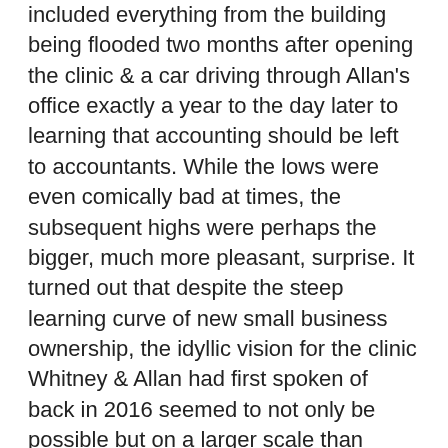included everything from the building being flooded two months after opening the clinic & a car driving through Allan's office exactly a year to the day later to learning that accounting should be left to accountants. While the lows were even comically bad at times, the subsequent highs were perhaps the bigger, much more pleasant, surprise. It turned out that despite the steep learning curve of new small business ownership, the idyllic vision for the clinic Whitney & Allan had first spoken of back in 2016 seemed to not only be possible but on a larger scale than either anticipated.
Over time, Whitney & Allan saw how their vision of a therapist-centered counseling clinic could not only work but also parallel a sustainable business model. By early 2019, their discussions